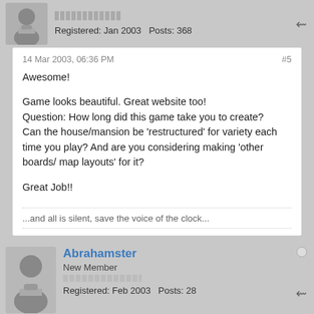Registered: Jan 2003   Posts: 368
14 Mar 2003, 06:36 PM
#5

Awesome!

Game looks beautiful. Great website too!
Question: How long did this game take you to create?
Can the house/mansion be 'restructured' for variety each time you play? And are you considering making 'other boards/ map layouts' for it?

Great Job!!
...and all is silent, save the voice of the clock...
Abrahamster
New Member
Registered: Feb 2003   Posts: 28